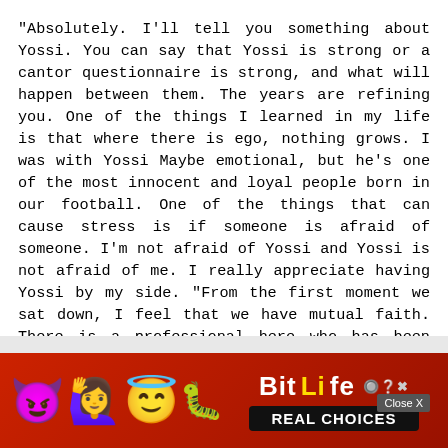"Absolutely. I'll tell you something about Yossi. You can say that Yossi is strong or a cantor questionnaire is strong, and what will happen between them. The years are refining you. One of the things I learned in my life is that where there is ego, nothing grows. I was with Yossi Maybe emotional, but he's one of the most innocent and loyal people born in our football. One of the things that can cause stress is if someone is afraid of someone. I'm not afraid of Yossi and Yossi is not afraid of me. I really appreciate having Yossi by my side. "From the first moment we sat down, I feel that we have mutual faith. There is a professional here who has been through a lot in Europe, seen things and it very important side. Yossi ration in th
[Figure (screenshot): Advertisement overlay for BitLife game app showing emoji characters (devil, woman with raised hands, winking face with halo), a sperm emoji, BitLife logo in yellow/white, and 'REAL CHOICES' tagline on red background. A 'Close X' button appears in the top-right of the ad.]